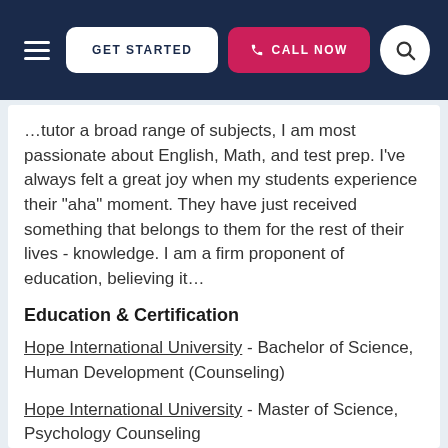GET STARTED | CALL NOW
…tutor a broad range of subjects, I am most passionate about English, Math, and test prep. I've always felt a great joy when my students experience their "aha" moment. They have just received something that belongs to them for the rest of their lives - knowledge. I am a firm proponent of education, believing it…
Education & Certification
Hope International University - Bachelor of Science, Human Development (Counseling)
Hope International University - Master of Science, Psychology Counseling
View this Chino Special Education